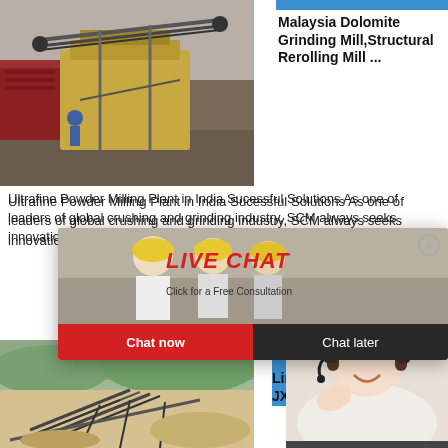[Figure (photo): Industrial crushing/grinding equipment at a construction or mining site, yellow machinery with metal framework]
Malaysia Dolomite Grinding Mill,Structural Rerolling Mill ...
Ultrafine Powder Milling Plant in India Sucessful Solutions As one of leaders of global crushing and grinding industry, SCM always seeks innovation excellence capability, advanced service, SCM customers.
[Figure (photo): Limestone quarry or sand processing plant layout with conveyor equipment, aerial view]
Limestone Plant Layo JXSC Mac
[Figure (screenshot): Live chat popup overlay with workers in hard hats, LIVE CHAT heading in red italic, Click for a Free Consultation subtitle, Chat now and Chat later buttons]
[Figure (screenshot): Right sidebar with 24 Hrs Online red banner, customer service woman with headset, Need questions & suggestion panel with Chat Now button]